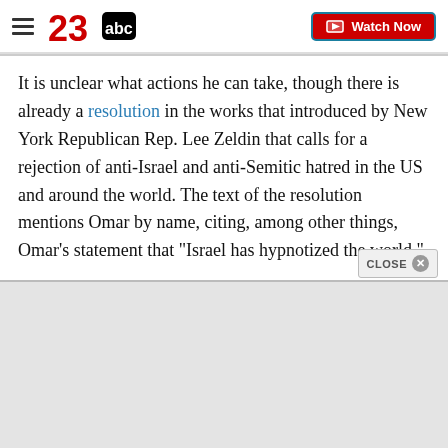23abc — Watch Now
It is unclear what actions he can take, though there is already a resolution in the works that introduced by New York Republican Rep. Lee Zeldin that calls for a rejection of anti-Israel and anti-Semitic hatred in the US and around the world. The text of the resolution mentions Omar by name, citing, among other things, Omar's statement that "Israel has hypnotized the world."
Two Jewish Democratic House Members -- Josh Gottheimer of New Jersey and Elaine Luria of Vir…